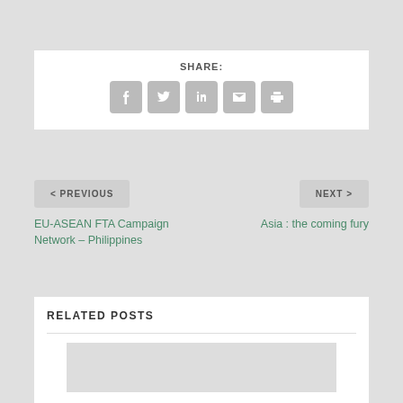SHARE:
[Figure (infographic): Five social share icon buttons: Facebook, Twitter, LinkedIn, Email, Print — rounded square gray buttons with white icons]
< PREVIOUS
NEXT >
EU-ASEAN FTA Campaign Network – Philippines
Asia : the coming fury
RELATED POSTS